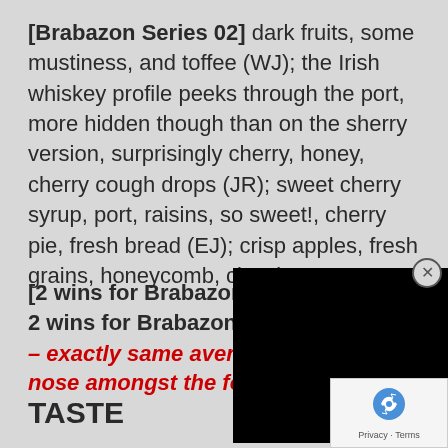[Brabazon Series 02] dark fruits, some mustiness, and toffee (WJ); the Irish whiskey profile peeks through the port, more hidden though than on the sherry version, surprisingly cherry, honey, cherry cough drops (JR); sweet cherry syrup, port, raisins, so sweet!, cherry pie, fresh bread (EJ); crisp apples, fresh grains, honeycomb, cherries, taste...
[2 wins for Brabazon Se... 2 wins for Brabazon Ser...
– exactly same average overall on the nose amongst the four tasters
TASTE
[Figure (other): Black overlay rectangle covering part of the page content (video player or ad overlay), with a close button (circled X) in the top right corner.]
[Figure (other): reCAPTCHA logo box in the bottom right corner with Privacy - Terms text.]